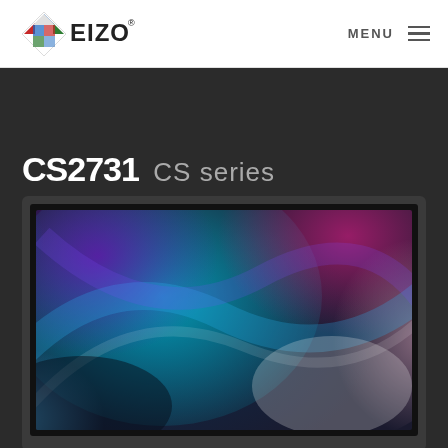[Figure (logo): EIZO logo with colorful diamond/grid pattern and EIZO text]
MENU ≡
CS2731 CS series
[Figure (photo): EIZO CS2731 monitor displaying colorful abstract artwork with blues, purples, pinks and whites, shown on a dark background with monitor stand]